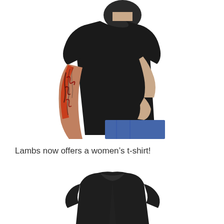[Figure (photo): Man wearing a plain black t-shirt with a heavily tattooed arm (red and black tattoo sleeve), hand tucked into jeans pocket, shown from neck to mid-thigh, white background.]
Lambs now offers a women’s t-shirt!
[Figure (photo): Black women’s t-shirt laid flat or on a form, crew neck, short sleeves, plain black fabric, shown from neck to mid-torso, white background.]